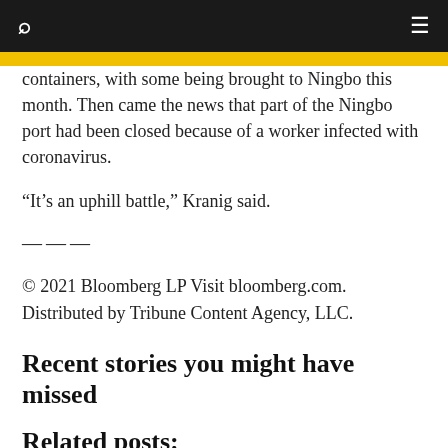🔍  ☰
containers, with some being brought to Ningbo this month. Then came the news that part of the Ningbo port had been closed because of a worker infected with coronavirus.
“It’s an uphill battle,” Kranig said.
———
© 2021 Bloomberg LP Visit bloomberg.com. Distributed by Tribune Content Agency, LLC.
Recent stories you might have missed
Related posts: